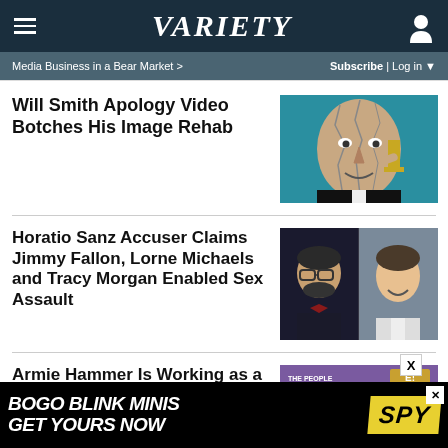VARIETY
Media Business in a Bear Market >
Subscribe | Log in
Will Smith Apology Video Botches His Image Rehab
[Figure (photo): Will Smith cracked face illustration holding Oscar trophy against teal background]
Horatio Sanz Accuser Claims Jimmy Fallon, Lorne Michaels and Tracy Morgan Enabled Sex Assault
[Figure (photo): Side by side photo of Horatio Sanz (left, with glasses and bow tie) and Jimmy Fallon (right, smiling)]
Armie Hammer Is Working as a Timeshare Salesman in the
[Figure (photo): Armie Hammer article thumbnail with People's Choice Awards background]
[Figure (photo): Advertisement: BOGO BLINK MINIS GET YOURS NOW - SPY]